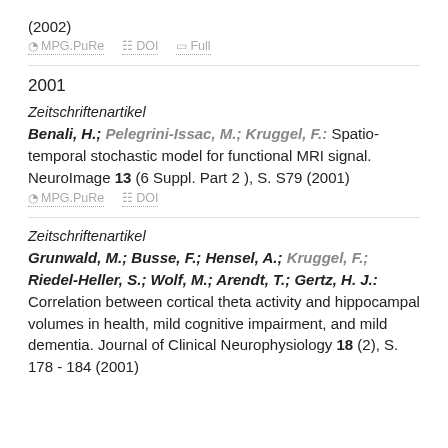(2002)
MPG.PuRe  DOI  Full
2001
Zeitschriftenartikel
Benali, H.; Pelegrini-Issac, M.; Kruggel, F.: Spatio-temporal stochastic model for functional MRI signal. NeuroImage 13 (6 Suppl. Part 2 ), S. S79 (2001)
MPG.PuRe  DOI
Zeitschriftenartikel
Grunwald, M.; Busse, F.; Hensel, A.; Kruggel, F.; Riedel-Heller, S.; Wolf, M.; Arendt, T.; Gertz, H. J.: Correlation between cortical theta activity and hippocampal volumes in health, mild cognitive impairment, and mild dementia. Journal of Clinical Neurophysiology 18 (2), S. 178 - 184 (2001)